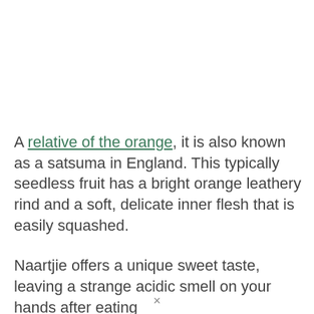A relative of the orange, it is also known as a satsuma in England. This typically seedless fruit has a bright orange leathery rind and a soft, delicate inner flesh that is easily squashed.
Naartjie offers a unique sweet taste, leaving a strange acidic smell on your hands after eating...